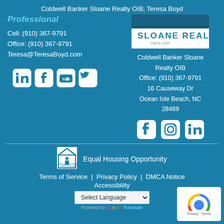Coldwell Banker Sloane Realty OIB, Teresa Boyd
Professional
Cell: (910) 367-9791
Office: (910) 367-9791
Teresa@TeresaBoyd.com
[Figure (logo): Sloane Realty logo with blue header and text SLOANE REALTY SINCE 1955]
Coldwell Banker Sloane Realty OIB
Office: (910) 367-9791
16 Causeway Dr
Ocean Isle Beach, NC 28469
[Figure (infographic): Social media icons: LinkedIn, Facebook, YouTube, Twitter (left column)]
[Figure (infographic): Social media icons: Facebook, Instagram, LinkedIn (right column)]
[Figure (logo): Equal Housing Opportunity logo]
Equal Housing Opportunity
Terms of Service | Privacy Policy | DMCA Notice
Accessibility
Select Language
Powered by Google Translate
[Figure (logo): reCAPTCHA logo with Privacy - Terms]